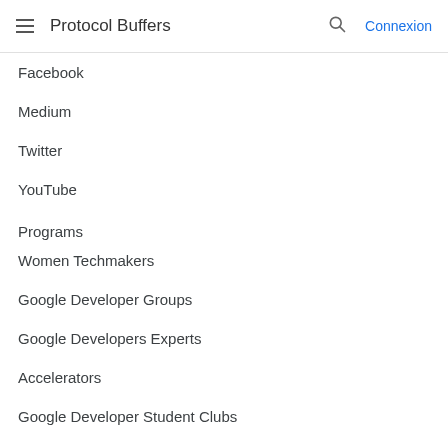Protocol Buffers
Facebook
Medium
Twitter
YouTube
Programs
Women Techmakers
Google Developer Groups
Google Developers Experts
Accelerators
Google Developer Student Clubs
Developer consoles